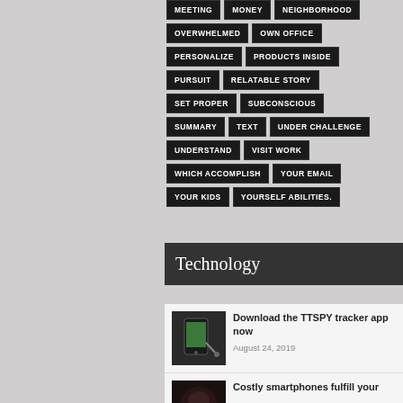MEETING
MONEY
NEIGHBORHOOD
OVERWHELMED
OWN OFFICE
PERSONALIZE
PRODUCTS INSIDE
PURSUIT
RELATABLE STORY
SET PROPER
SUBCONSCIOUS
SUMMARY
TEXT
UNDER CHALLENGE
UNDERSTAND
VISIT WORK
WHICH ACCOMPLISH
YOUR EMAIL
YOUR KIDS
YOURSELF ABILITIES.
Technology
Download the TTSPY tracker app now
August 24, 2019
Costly smartphones fulfill your